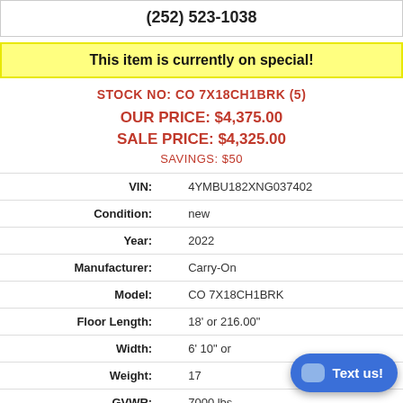(252) 523-1038
This item is currently on special!
STOCK NO: CO 7X18CH1BRK (5)
OUR PRICE: $4,375.00
SALE PRICE: $4,325.00
SAVINGS: $50
| Field | Value |
| --- | --- |
| VIN: | 4YMBU182XNG037402 |
| Condition: | new |
| Year: | 2022 |
| Manufacturer: | Carry-On |
| Model: | CO 7X18CH1BRK |
| Floor Length: | 18' or 216.00" |
| Width: | 6' 10" or... |
| Weight: | 17... |
| GVWR: | 7000 lbs |